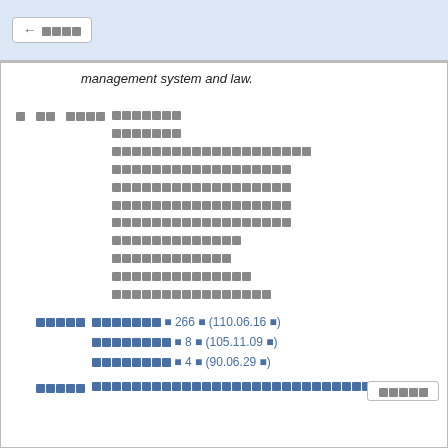Share [Thai characters]
management system and law.
[Thai characters - list items]
[Thai reference lines with dates: 266 (110.06.16), 8 (105.11.09), 4 (90.06.29)]
[Thai footer text]